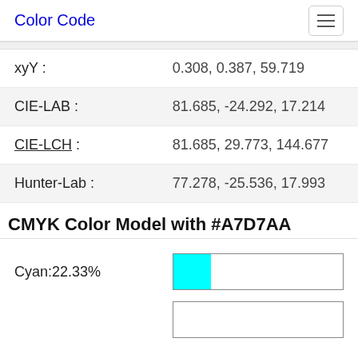Color Code
| Property | Value |
| --- | --- |
| xyY : | 0.308, 0.387, 59.719 |
| CIE-LAB : | 81.685, -24.292, 17.214 |
| CIE-LCH : | 81.685, 29.773, 144.677 |
| Hunter-Lab : | 77.278, -25.536, 17.993 |
CMYK Color Model with #A7D7AA
Cyan:22.33%
[Figure (other): Cyan percentage bar showing approximately 22.33% fill in cyan color]